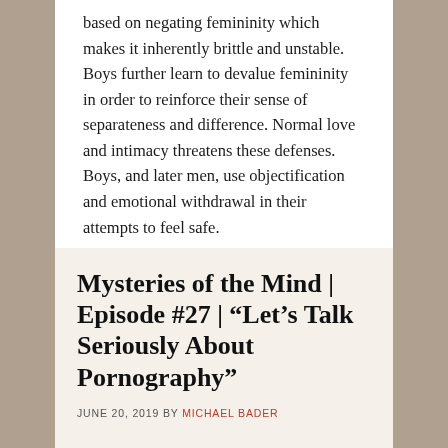based on negating femininity which makes it inherently brittle and unstable.  Boys further learn to devalue femininity in order to reinforce their sense of separateness and difference. Normal love and intimacy threatens these defenses. Boys, and later men, use objectification and emotional withdrawal in their attempts to feel safe.
Mysteries of the Mind | Episode #27 | “Let’s Talk Seriously About Pornography”
JUNE 20, 2019 BY MICHAEL BADER